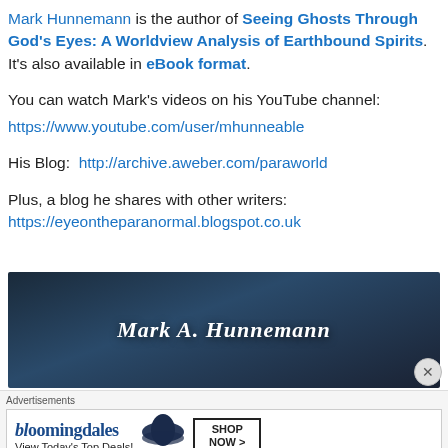Mark Hunnemann is the author of Seeing Ghosts Through God's Eyes: A Worldview Analysis of Earthbound Spirits. It's also available in eBook format.
You can watch Mark's videos on his YouTube channel: https://www.youtube.com/user/mhunneable
His Blog: http://archive.aweber.com/paraworld
Plus, a blog he shares with other writers: https://eyeontheparanormal.blogspot.co.uk
[Figure (photo): Dark atmospheric banner image with text 'Mark A. Hunnemann' in white italic font on a dark blue/grey background]
Advertisements
[Figure (other): Bloomingdale's advertisement with logo, hat image, 'View Today's Top Deals!' text and 'SHOP NOW >' button]